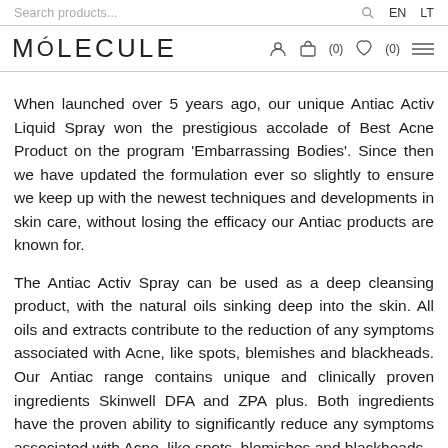Search products... EN LT | MOLECULE (0) (0)
When launched over 5 years ago, our unique Antiac Activ Liquid Spray won the prestigious accolade of Best Acne Product on the program 'Embarrassing Bodies'. Since then we have updated the formulation ever so slightly to ensure we keep up with the newest techniques and developments in skin care, without losing the efficacy our Antiac products are known for.
The Antiac Activ Spray can be used as a deep cleansing product, with the natural oils sinking deep into the skin. All oils and extracts contribute to the reduction of any symptoms associated with Acne, like spots, blemishes and blackheads. Our Antiac range contains unique and clinically proven ingredients Skinwell DFA and ZPA plus. Both ingredients have the proven ability to significantly reduce any symptoms associated with Acne, like spots, blemishes and blackheads.